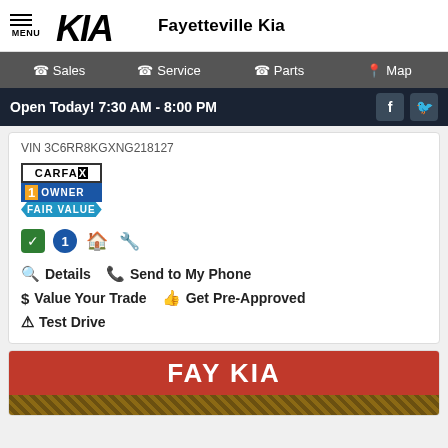MENU | KIA | Fayetteville Kia
Sales | Service | Parts | Map
Open Today! 7:30 AM - 8:00 PM
VIN 3C6RR8KGXNG218127
[Figure (logo): CARFAX 1 Owner Fair Value badge with icons]
Details
Send to My Phone
Value Your Trade
Get Pre-Approved
Test Drive
[Figure (logo): FAY KIA red banner logo]